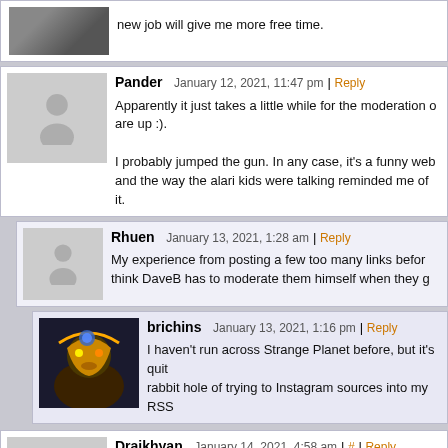new job will give me more free time.
Pander   January 12, 2021, 11:47 pm | Reply
Apparently it just takes a little while for the moderation of are up :).

I probably jumped the gun. In any case, it's a funny web and the way the alari kids were talking reminded me of it.
Rhuen   January 13, 2021, 1:28 am | Reply
My experience from posting a few too many links before think DaveB has to moderate them himself when they g
brichins   January 13, 2021, 1:16 pm | Reply
I haven't run across Strange Planet before, but it's quite rabbit hole of trying to Instagram sources into my RSS
Draikhyan   January 14, 2021, 4:58 am | # | Reply
My advice to anyone who paid to see Sydney not in her jim-j is required by law to see one.
Comment Pages  1  2  Next »
Comment ↵